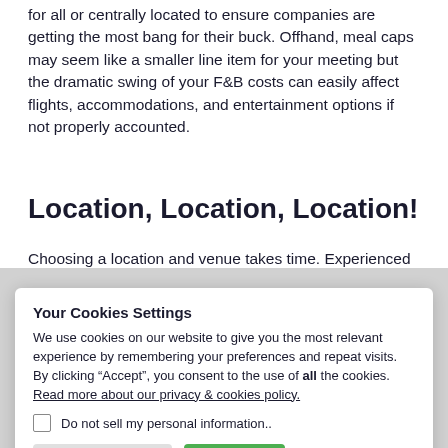for all or centrally located to ensure companies are getting the most bang for their buck. Offhand, meal caps may seem like a smaller line item for your meeting but the dramatic swing of your F&B costs can easily affect flights, accommodations, and entertainment options if not properly accounted.
Location, Location, Location!
Choosing a location and venue takes time. Experienced
Your Cookies Settings

We use cookies on our website to give you the most relevant experience by remembering your preferences and repeat visits. By clicking “Accept”, you consent to the use of all the cookies. Read more about our privacy & cookies policy.

☐ Do not sell my personal information.

[Cookie Settings] [Accept]